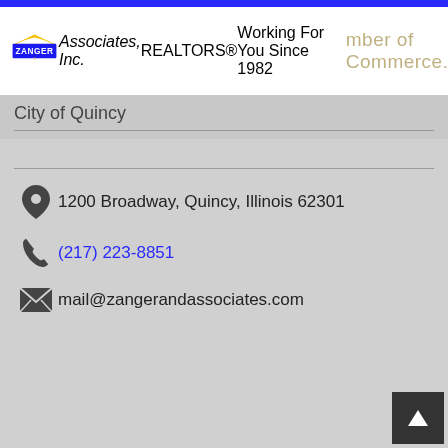Zanger & Associates, Inc. REALTORS® Working For You Since 1982 — Chamber of Commerce
City of Quincy
1200 Broadway, Quincy, Illinois 62301
(217) 223-8851
mail@zangerandassociates.com